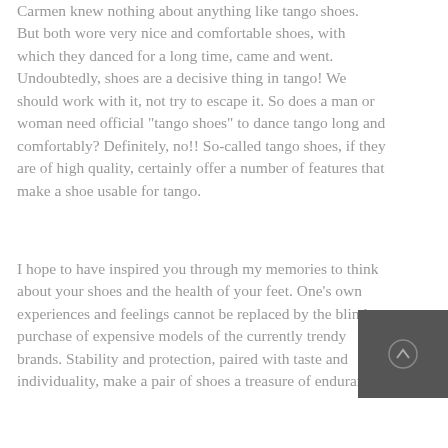Carmen knew nothing about anything like tango shoes. But both wore very nice and comfortable shoes, with which they danced for a long time, came and went. Undoubtedly, shoes are a decisive thing in tango! We should work with it, not try to escape it. So does a man or woman need official "tango shoes" to dance tango long and comfortably? Definitely, no!! So-called tango shoes, if they are of high quality, certainly offer a number of features that make a shoe usable for tango.
I hope to have inspired you through my memories to think about your shoes and the health of your feet. One's own experiences and feelings cannot be replaced by the blind purchase of expensive models of the currently trendy brands. Stability and protection, paired with taste and individuality, make a pair of shoes a treasure of endurance.
[Figure (photo): Small dark square image with a faint circular shape in the center, likely a button or scroll-to-top icon]